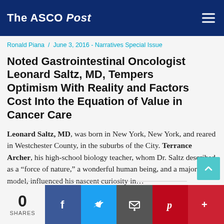The ASCO Post
Ronald Piana  /  June 3, 2016 - Narratives Special Issue
Noted Gastrointestinal Oncologist Leonard Saltz, MD, Tempers Optimism With Reality and Factors Cost Into the Equation of Value in Cancer Care
Leonard Saltz, MD, was born in New York, New York, and reared in Westchester County, in the suburbs of the City. Terrance Archer, his high-school biology teacher, whom Dr. Saltz described as a “force of nature,” a wonderful human being, and a major role model, influenced his nascent curiosity in…
0 SHARES